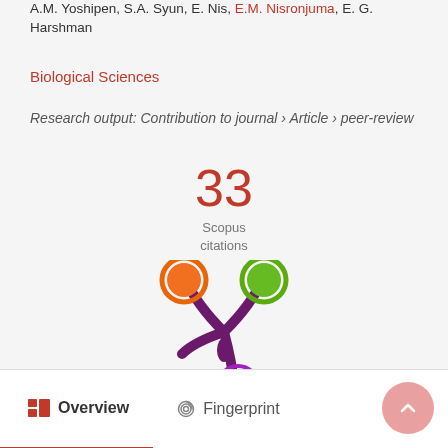A.M. Yoshipen, S.A. Syun, E. Nis, E.M. Nisronjuma, E. G. Harshman
Biological Sciences
Research output: Contribution to journal › Article › peer-review
[Figure (infographic): 33 Scopus citations badge]
[Figure (logo): Fingerprint/Altmetric flower logo with orange, green, and purple circles on a purple splash shape]
Overview
Fingerprint